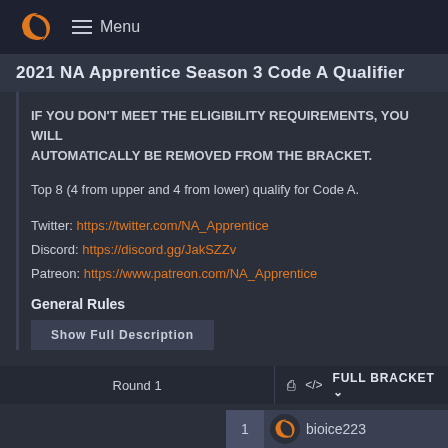Menu
2021 NA Apprentice Season 3 Code A Qualifier
IF YOU DON'T MEET THE ELIGIBILITY REQUIREMENTS, YOU WILL AUTOMATICALLY BE REMOVED FROM THE BRACKET.
Top 8 (4 from upper and 4 from lower) qualify for Code A.
Twitter: https://twitter.com/NA_Apprentice
Discord: https://discord.gg/JakSZZv
Patreon: https://www.patreon.com/NA_Apprentice
General Rules
Show Full Description
Round 1
FULL BRACKET
1  bioice223